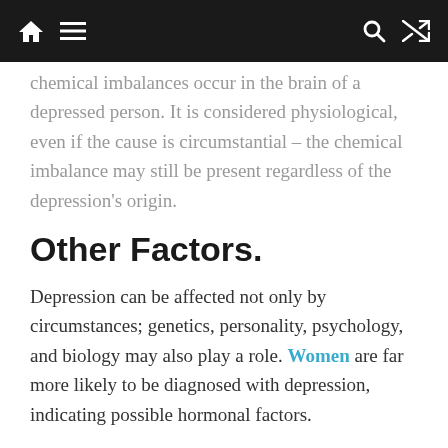[navigation bar with home, menu, search, shuffle icons]
chemical imbalances occur in the brain of a depressed person. It is considered physiological, even if the cause is circumstantial – the chemical imbalance may still be present regardless of the depression's origin.
Other Factors.
Depression can be affected not only by circumstances; genetics, personality, psychology, and biology may also play a role. Women are far more likely to be diagnosed with depression, indicating possible hormonal factors.